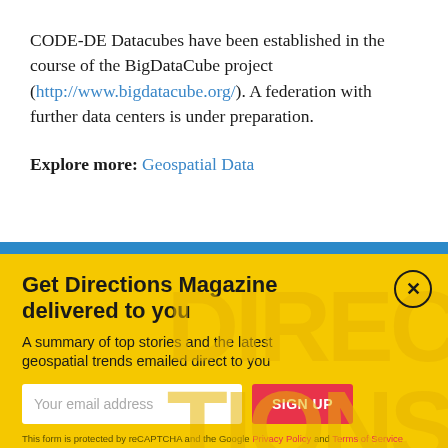CODE-DE Datacubes have been established in the course of the BigDataCube project (http://www.bigdatacube.org/). A federation with further data centers is under preparation.
Explore more: Geospatial Data
Get Directions Magazine delivered to you
A summary of top stories and the latest geospatial trends emailed direct to you
Your email address [input] SIGN UP
This form is protected by reCAPTCHA and the Google Privacy Policy and Terms of Service apply.